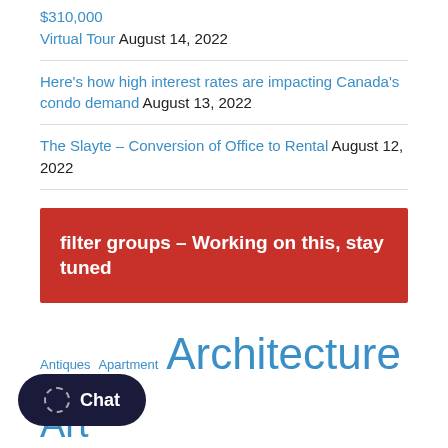$310,000 Virtual Tour August 14, 2022
Here's how high interest rates are impacting Canada's condo demand August 13, 2022
The Slayte – Conversion of Office to Rental August 12, 2022
filter groups – Working on this, stay tuned
Antiques Apartment Architecture Art ... Bedrooms Buying Canada Celebrations Cleaning Community